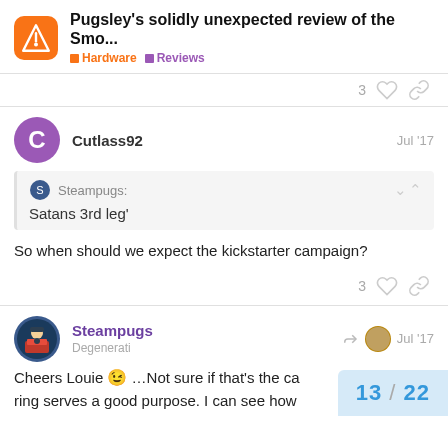Pugsley's solidly unexpected review of the Smo... | Hardware | Reviews
3 likes, share
Cutlass92 Jul '17
Steampugs: Satans 3rd leg'
So when should we expect the kickstarter campaign?
3 likes, share
Steampugs Degenerati Jul '17
Cheers Louie ...Not sure if that's the ca ring serves a good purpose. I can see how
13 / 22